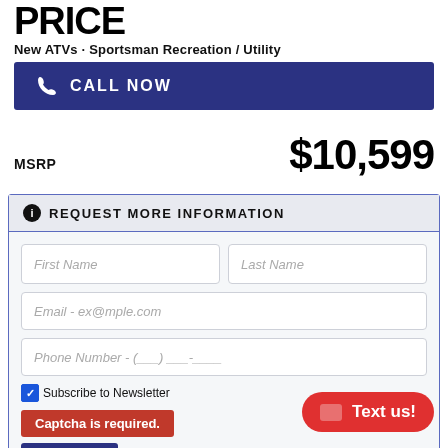PRICE
New ATVs · Sportsman Recreation / Utility
CALL NOW
MSRP $10,599
REQUEST MORE INFORMATION
First Name
Last Name
Email - ex@mple.com
Phone Number - (___) ___-____
Subscribe to Newsletter
Captcha is required.
Text us!